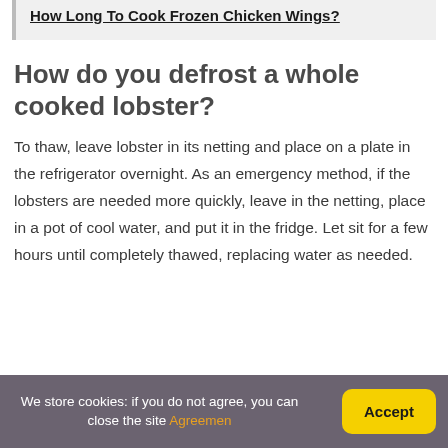How Long To Cook Frozen Chicken Wings?
How do you defrost a whole cooked lobster?
To thaw, leave lobster in its netting and place on a plate in the refrigerator overnight. As an emergency method, if the lobsters are needed more quickly, leave in the netting, place in a pot of cool water, and put it in the fridge. Let sit for a few hours until completely thawed, replacing water as needed.
We store cookies: if you do not agree, you can close the site Agreemen | Accept